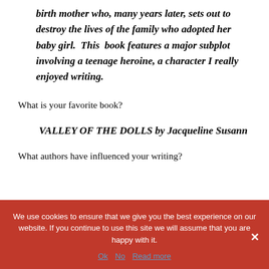birth mother who, many years later, sets out to destroy the lives of the family who adopted her baby girl.  This  book features a major subplot involving a teenage heroine, a character I really enjoyed writing.
What is your favorite book?
VALLEY OF THE DOLLS by Jacqueline Susann
What authors have influenced your writing?
We use cookies to ensure that we give you the best experience on our website. If you continue to use this site we will assume that you are happy with it.